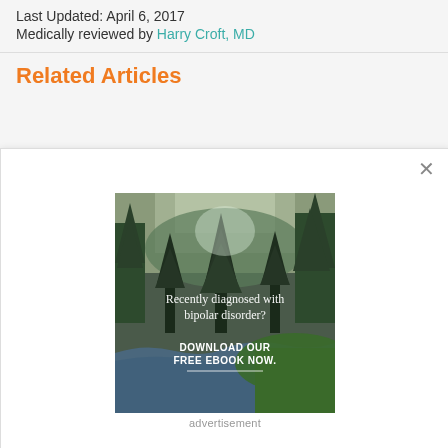Last Updated: April 6, 2017
Medically reviewed by Harry Croft, MD
Related Articles
[Figure (photo): Advertisement popup showing a forest/river landscape scene with text 'Recently diagnosed with bipolar disorder? DOWNLOAD OUR FREE EBOOK NOW.' overlaid on the image]
advertisement